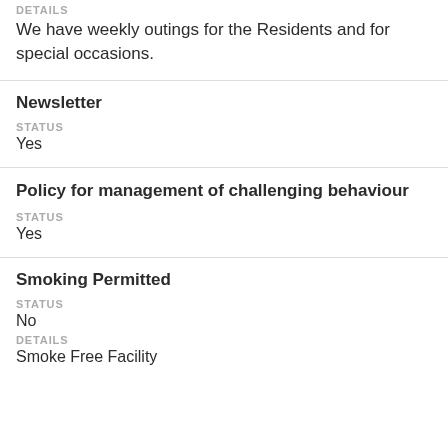DETAILS
We have weekly outings for the Residents and for special occasions.
Newsletter
STATUS
Yes
Policy for management of challenging behaviour
STATUS
Yes
Smoking Permitted
STATUS
No
DETAILS
Smoke Free Facility